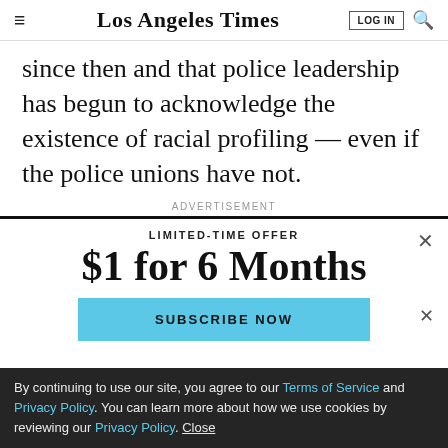Los Angeles Times | LOG IN | [search]
since then and that police leadership has begun to acknowledge the existence of racial profiling — even if the police unions have not.
ADVERTISEMENT
[Figure (screenshot): Subscription ad overlay with close button, LIMITED-TIME OFFER text, $1 for 6 Months headline, and SUBSCRIBE NOW button in light blue]
By continuing to use our site, you agree to our Terms of Service and Privacy Policy. You can learn more about how we use cookies by reviewing our Privacy Policy. Close